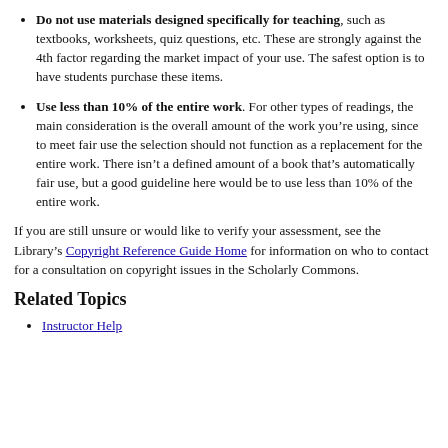Do not use materials designed specifically for teaching, such as textbooks, worksheets, quiz questions, etc. These are strongly against the 4th factor regarding the market impact of your use. The safest option is to have students purchase these items.
Use less than 10% of the entire work. For other types of readings, the main consideration is the overall amount of the work you’re using, since to meet fair use the selection should not function as a replacement for the entire work. There isn’t a defined amount of a book that’s automatically fair use, but a good guideline here would be to use less than 10% of the entire work.
If you are still unsure or would like to verify your assessment, see the Library’s Copyright Reference Guide Home for information on who to contact for a consultation on copyright issues in the Scholarly Commons.
Related Topics
Instructor Help